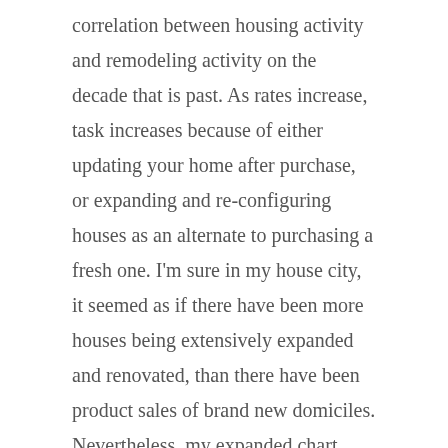correlation between housing activity and remodeling activity on the decade that is past. As rates increase, task increases because of either updating your home after purchase, or expanding and re-configuring houses as an alternate to purchasing a fresh one. I'm sure in my house city, it seemed as if there have been more houses being extensively expanded and renovated, than there have been product sales of brand new domiciles. Nevertheless, my expanded chart shows a different pattern as far when I can inform.

The entire subject of renovating brings in your thoughts certainly one of nostringsattached free app [repeat] sales indexes to my pet peeve. Advocates for this